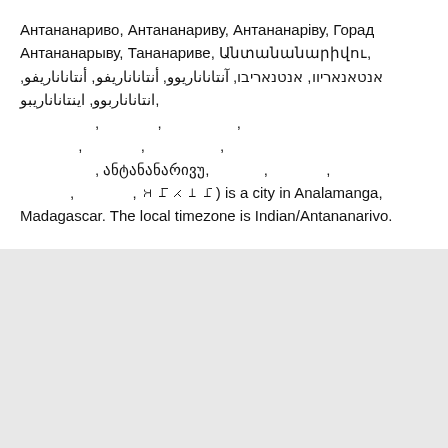Антананариво, Антананариву, Антананаріву, Горад Антананарыву, Тананариве, Անտանանարիվու, אנטאנאריוו, אנטנאריבו, آنتاناناریوو, أنتاناناريفو, أنتاناناريفو, انتاناناربوو, اینتاناناریبو, , , , , , , , , , , , , , ანტანანარივუ, , , , , , , 𑀅𑀦𑁆) is a city in Analamanga, Madagascar. The local timezone is Indian/Antananarivo.